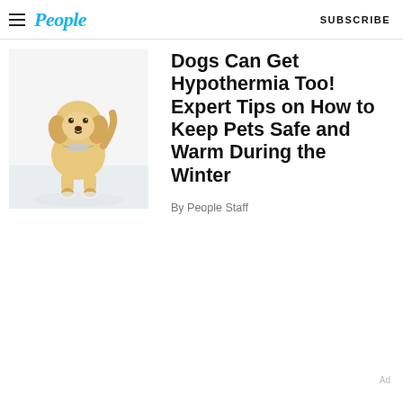People | SUBSCRIBE
[Figure (photo): A golden retriever puppy standing in snow, wearing a small bandana, white snowy background]
Dogs Can Get Hypothermia Too! Expert Tips on How to Keep Pets Safe and Warm During the Winter
By People Staff
Ad